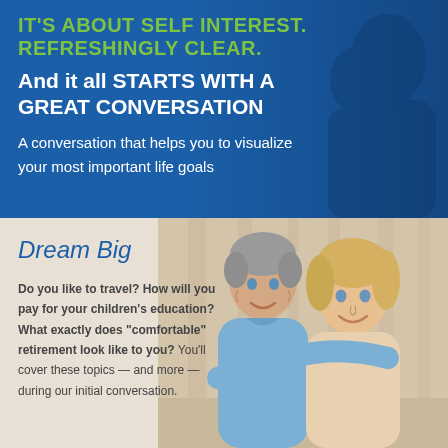IT'S ABOUT SELF INTEREST. REFRESHINGLY CLEAR.
And it all STARTS WITH A GREAT CONVERSATION
A conversation that helps you to visualize your most important life goals
[Figure (photo): Elderly smiling man photographed in blue-tinted background, top right of blue section]
[Figure (photo): Smiling older couple, man with grey hair and woman with blonde hair, photographed together in the bottom section]
Dream Big
Do you like to travel? How will you pay for your children's education? What exactly does "comfortable" retirement look like to you? You'll cover these topics — and more — during our initial conversation.